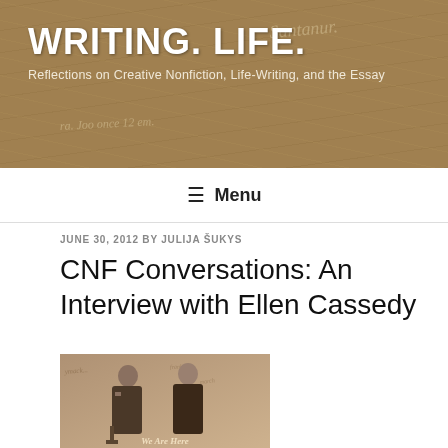WRITING. LIFE.
Reflections on Creative Nonfiction, Life-Writing, and the Essay
☰ Menu
JUNE 30, 2012 BY JULIJA ŠUKYS
CNF Conversations: An Interview with Ellen Cassedy
[Figure (photo): Sepia-toned vintage photograph of two people (a man and a woman) in old-fashioned clothing, with handwritten text visible behind them. Caption at bottom reads 'We Are Here'.]